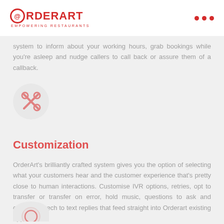ORDERART - empowering restaurants
system to inform about your working hours, grab bookings while you're asleep and nudge callers to call back or assure them of a callback.
[Figure (illustration): Circular icon with scissors/tools symbol on light grey background]
Customization
OrderArt's brilliantly crafted system gives you the option of selecting what your customers hear and the customer experience that's pretty close to human interactions. Customise IVR options, retries, opt to transfer or transfer on error, hold music, questions to ask and convert speech to text replies that feed straight into Orderart existing applications.